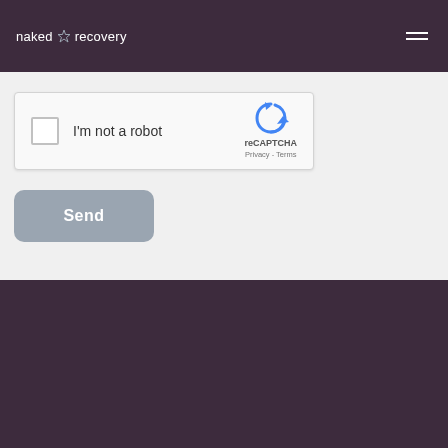naked recovery
[Figure (screenshot): reCAPTCHA widget with checkbox labeled 'I'm not a robot' and reCAPTCHA logo with Privacy and Terms links]
Send
[Figure (logo): naked recovery logo in footer]
HOME
Naked Recovery provides real- crises and trauma. Our solution rapid transformation retreats and real-time coaching
TRAUMAS
Schedule time with us